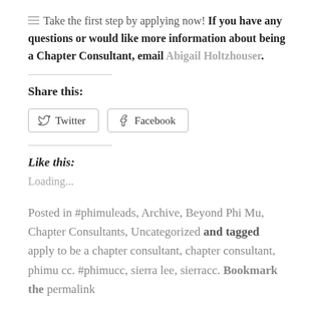Take the first step by applying now! If you have any questions or would like more information about being a Chapter Consultant, email Abigail Holtzhouser.
Share this:
[Figure (other): Twitter and Facebook share buttons]
Like this:
Loading...
Posted in #phimuleads, Archive, Beyond Phi Mu, Chapter Consultants, Uncategorized and tagged apply to be a chapter consultant, chapter consultant, phimu cc. #phimucc, sierra lee, sierracc. Bookmark the permalink